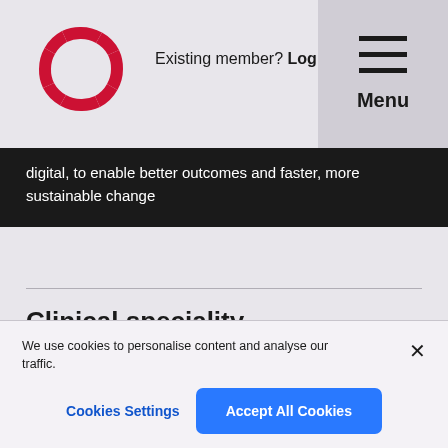[Figure (logo): Red circular segmented logo mark]
Existing member? Log in  Menu
digital, to enable better outcomes and faster, more sustainable change
Clinical speciality
Acute internal medicine
We use cookies to personalise content and analyse our traffic.
Cookies Settings  Accept All Cookies